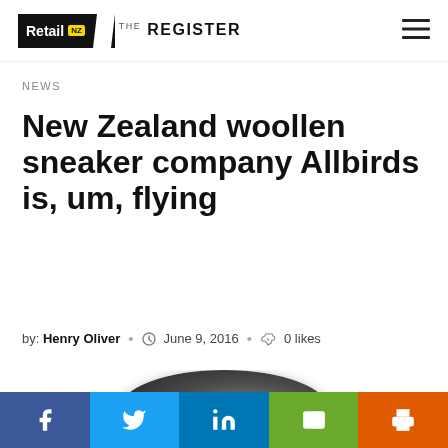[Figure (logo): Retail NZ The Register logo with hamburger menu icon]
NEWS
New Zealand woollen sneaker company Allbirds is, um, flying
by: Henry Oliver • June 9, 2016 • 0 likes
[Figure (photo): Allbirds woollen sneaker sole viewed from above, dark grey textured surface]
Social sharing bar: Facebook, Twitter, LinkedIn, Email, Print